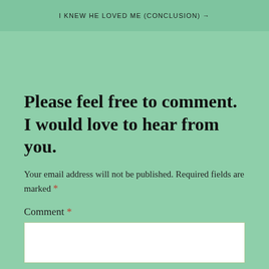I KNEW HE LOVED ME (CONCLUSION) →
Please feel free to comment. I would love to hear from you.
Your email address will not be published. Required fields are marked *
Comment *